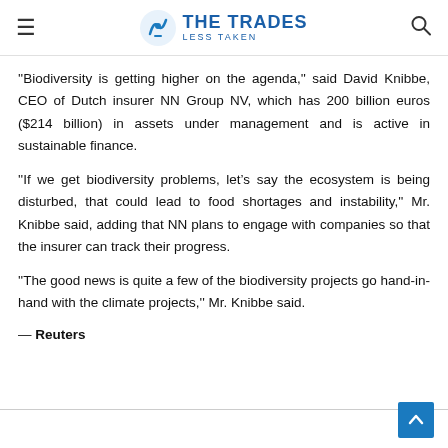THE TRADES LESS TAKEN
''Biodiversity is getting higher on the agenda,'' said David Knibbe, CEO of Dutch insurer NN Group NV, which has 200 billion euros ($214 billion) in assets under management and is active in sustainable finance.
''If we get biodiversity problems, let's say the ecosystem is being disturbed, that could lead to food shortages and instability,'' Mr. Knibbe said, adding that NN plans to engage with companies so that the insurer can track their progress.
''The good news is quite a few of the biodiversity projects go hand-in-hand with the climate projects,'' Mr. Knibbe said.
— Reuters